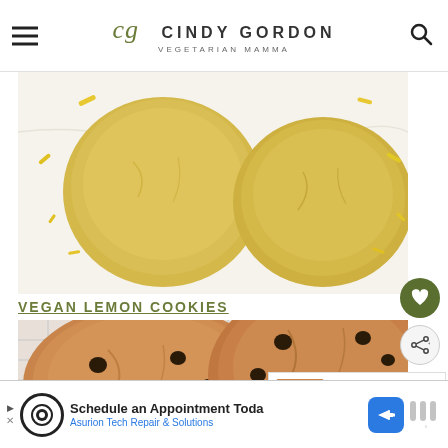cg CINDY GORDON VEGETARIAN MAMMA
[Figure (photo): Top-down view of two round yellow lemon cookies on a white marble surface with yellow lemon zest scattered around.]
VEGAN LEMON COOKIES
[Figure (photo): Top-down view of two large chocolate chip cookies on a wire cooling rack, with chocolate chips visible and a crispy cracked texture.]
WHAT'S NEXT → Vegan Peanut Butter...
Schedule an Appointment Toda
Asurion Tech Repair & Solutions